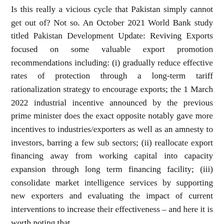Is this really a vicious cycle that Pakistan simply cannot get out of? Not so. An October 2021 World Bank study titled Pakistan Development Update: Reviving Exports focused on some valuable export promotion recommendations including: (i) gradually reduce effective rates of protection through a long-term tariff rationalization strategy to encourage exports; the 1 March 2022 industrial incentive announced by the previous prime minister does the exact opposite notably gave more incentives to industries/exporters as well as an amnesty to investors, barring a few sub sectors; (ii) reallocate export financing away from working capital into capacity expansion through long term financing facility; (iii) consolidate market intelligence services by supporting new exporters and evaluating the impact of current interventions to increase their effectiveness – and here it is worth noting that